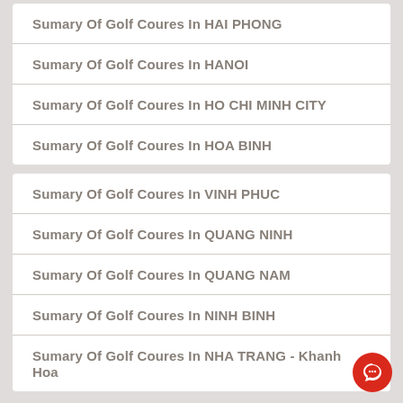Sumary Of Golf Coures In HAI PHONG
Sumary Of Golf Coures In HANOI
Sumary Of Golf Coures In HO CHI MINH CITY
Sumary Of Golf Coures In HOA BINH
Sumary Of Golf Coures In VINH PHUC
Sumary Of Golf Coures In QUANG NINH
Sumary Of Golf Coures In QUANG NAM
Sumary Of Golf Coures In NINH BINH
Sumary Of Golf Coures In NHA TRANG - Khanh Hoa